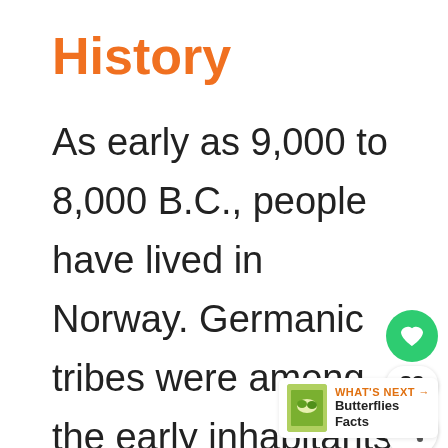History
As early as 9,000 to 8,000 B.C., people have lived in Norway. Germanic tribes were among the early inhabitants of the area. People farmed the land and organized themselves into small
[Figure (infographic): Green circular heart/like button with white heart icon]
83
[Figure (infographic): White circular share button with share icon]
[Figure (infographic): WHAT'S NEXT panel with book thumbnail and text: Butterflies Facts]